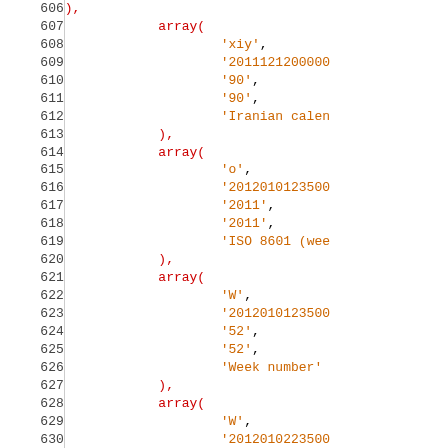Code listing lines 606-635 showing PHP array definitions with string values including 'xiy', datetime strings, '90', 'Iranian calen...', 'o', '2011', 'ISO 8601 (wee...', 'W', '52', 'Week number', '1', and 'o-\\WW-N'